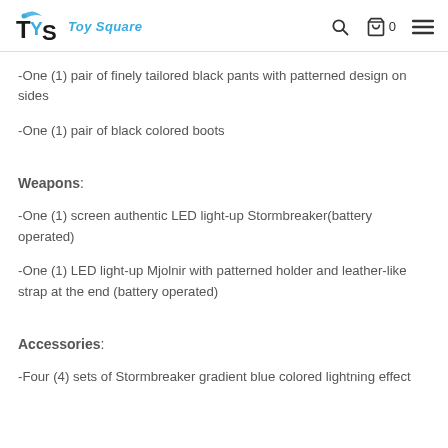TYS Toy Square
-One (1) pair of finely tailored black pants with patterned design on sides
-One (1) pair of black colored boots
Weapons:
-One (1) screen authentic LED light-up Stormbreaker(battery operated)
-One (1) LED light-up Mjolnir with patterned holder and leather-like strap at the end (battery operated)
Accessories:
-Four (4) sets of Stormbreaker gradient blue colored lightning effect